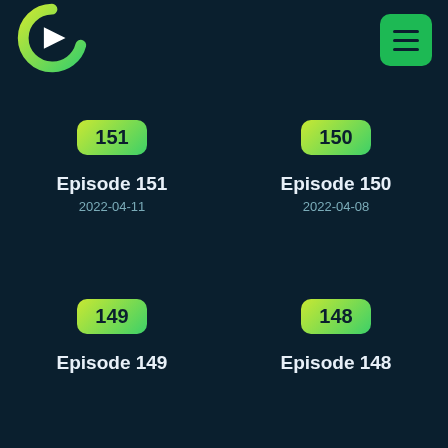[Figure (logo): Podcast app logo: green C shape with white play triangle inside]
[Figure (illustration): Green hamburger menu button (three horizontal lines)]
151
Episode 151
2022-04-11
150
Episode 150
2022-04-08
149
Episode 149
148
Episode 148